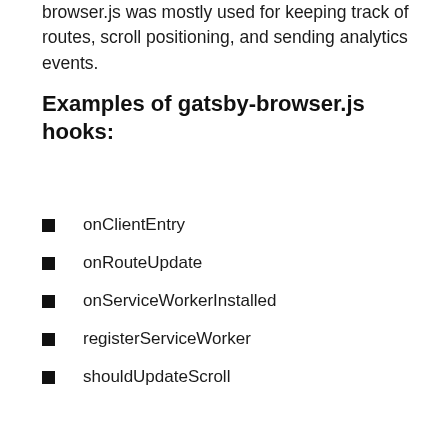browser.js was mostly used for keeping track of routes, scroll positioning, and sending analytics events.
Examples of gatsby-browser.js hooks:
onClientEntry
onRouteUpdate
onServiceWorkerInstalled
registerServiceWorker
shouldUpdateScroll